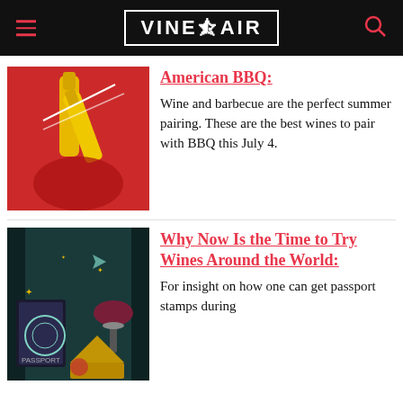VINEPAIR
[Figure (illustration): Stylized graphic of wine bottles in red and yellow tones on red background]
American BBQ:
Wine and barbecue are the perfect summer pairing. These are the best wines to pair with BBQ this July 4.
[Figure (illustration): Stylized graphic of passport, wine glass, cheese and fruits on dark teal/black background]
Why Now Is the Time to Try Wines Around the World:
For insight on how one can get passport stamps during Covid-19...